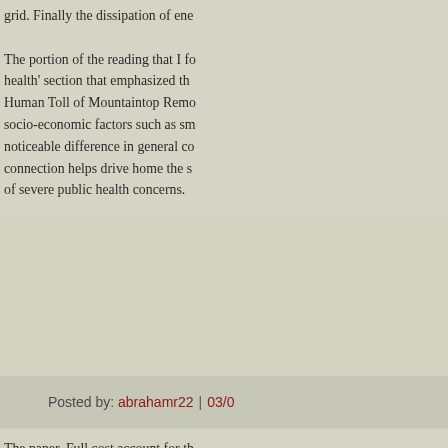grid. Finally the dissipation of ene...
The portion of the reading that I fo... health' section that emphasized th... Human Toll of Mountaintop Remo... socio-economic factors such as sm... noticeable difference in general co... connection helps drive home the s... of severe public health concerns.
Posted by: abrahamr22 | 03/0...
[Figure (illustration): Green geometric snowflake/star pattern avatar icon on dark green background]
The paper, Full cost account for th... discussions we have been partakin... the MTR yale article we read befo... fossil fuels like oil and natural gas... externalities associated with not ju... only cost of using fossil fuels to ge... preparation, and transport are quit... many, many external costs associa... and values assigned to estimated c... accounting is that in reality the tru... generous estimates describe in the... is the cost and benefits they bring... Centralia, PA which is mentioned...